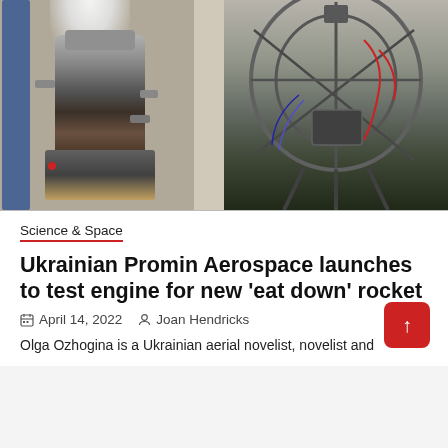[Figure (photo): Two side-by-side photos of rocket engine hardware. Left: a metal rocket engine mounted on a test stand with a white exhaust plume and blue structural frame. Right: a spherical cage-like structure (rocket prototype frame) with wiring and components mounted on a stand indoors.]
Science & Space
Ukrainian Promin Aerospace launches to test engine for new 'eat down' rocket
April 14, 2022   Joan Hendricks
Olga Ozhogina is a Ukrainian aerial novelist, novelist and